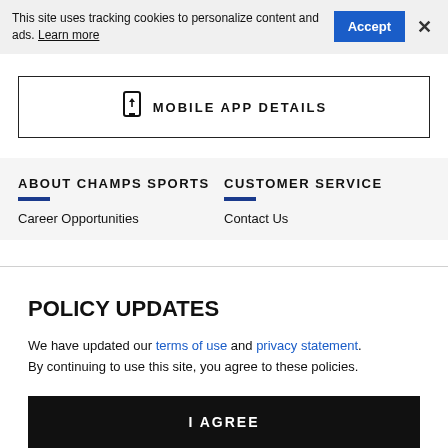This site uses tracking cookies to personalize content and ads. Learn more
MOBILE APP DETAILS
ABOUT CHAMPS SPORTS
CUSTOMER SERVICE
Career Opportunities
Contact Us
POLICY UPDATES
We have updated our terms of use and privacy statement. By continuing to use this site, you agree to these policies.
I AGREE